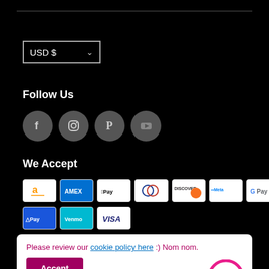USD $ ▾
Follow Us
[Figure (illustration): Four social media icons: Facebook, Instagram, Pinterest, YouTube — grey circles]
We Accept
[Figure (illustration): Payment method icons: Amazon, Amex, Apple Pay, Diners Club, Discover, Meta Pay, Google Pay, Mastercard, PayPal, ShopPay, Venmo, Visa]
Please review our cookie policy here :) Nom nom.
Accept